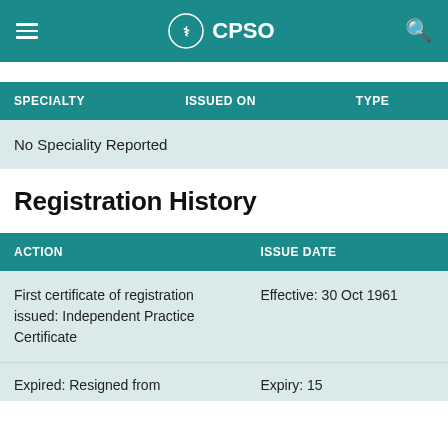CPSO
| SPECIALTY | ISSUED ON | TYPE |
| --- | --- | --- |
| No Speciality Reported |  |  |
Registration History
| ACTION | ISSUE DATE |
| --- | --- |
| First certificate of registration issued: Independent Practice Certificate | Effective: 30 Oct 1961 |
| Expired: Resigned from | Expiry: 15 |